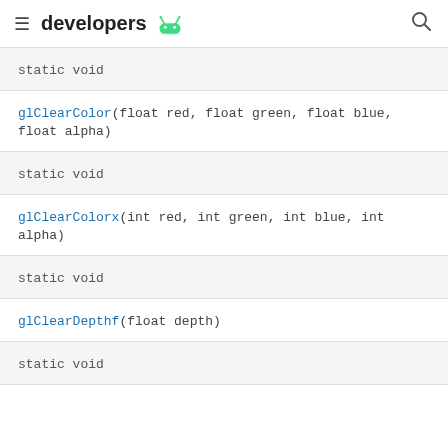developers
static void
glClearColor(float red, float green, float blue, float alpha)
static void
glClearColorx(int red, int green, int blue, int alpha)
static void
glClearDepthf(float depth)
static void